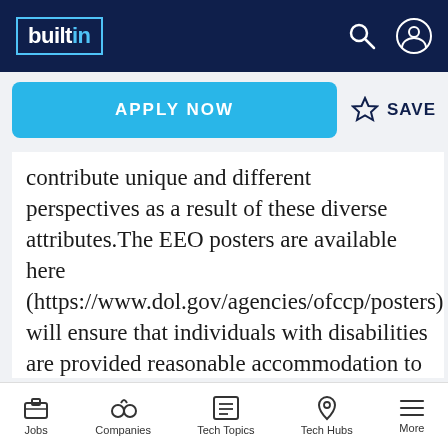builtin
APPLY NOW
SAVE
contribute unique and different perspectives as a result of these diverse attributes.The EEO posters are available here (https://www.dol.gov/agencies/ofccp/posters).We will ensure that individuals with disabilities are provided reasonable accommodation to participate in the job application or interview process, to perform crucial job functions, and to receive other benefits and privileges of
Jobs | Companies | Tech Topics | Tech Hubs | More